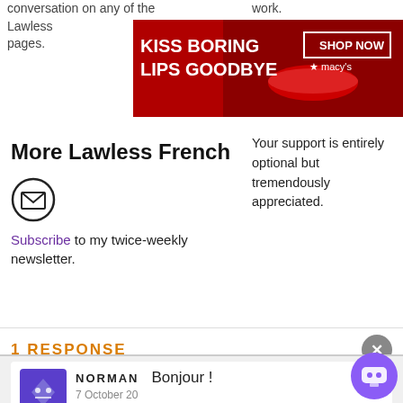conversation on any of the Lawless pages.
[Figure (screenshot): Macy's advertisement banner: 'KISS BORING LIPS GOODBYE' with SHOP NOW button and woman with red lips]
work. please consider making a one-time or monthly donation.
More Lawless French
[Figure (illustration): Email envelope icon in a circle]
Subscribe to my twice-weekly newsletter.
Your support is entirely optional but tremendously appreciated.
1 RESPONSE
[Figure (illustration): Close/X button (gray circle with X)]
[Figure (illustration): Comment avatar icon - purple diamond shape with icons]
NORMAN  Bonjour !  7 October 20
Thanksgiving is also celebrated in Canada, but in early October not late November. It will also be a bilingual language
[Figure (screenshot): Macy's advertisement banner bottom: 'KISS BORING LIPS GOODBYE' with SHOP NOW button and woman with red lips]
[Figure (illustration): CLOSE button overlay and chatbot purple circle icon]